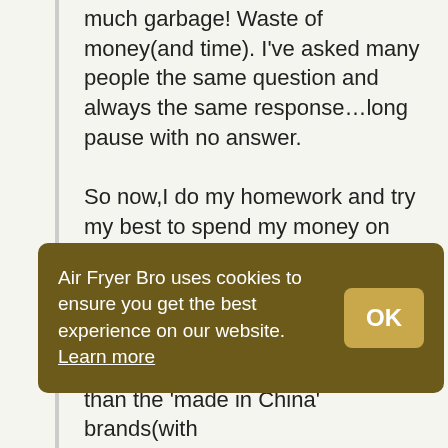much garbage! Waste of money(and time). I've asked many people the same question and always the same response...long pause with no answer.
So now,I do my homework and try my best to spend my money on items made elsewhere that are better quality.Willing to pay more fore a quality made product,as well as support the North American economy.Not an easy task these days. Latest purchase was a German
Air Fryer Bro uses cookies to ensure you get the best experience on our website. Learn more
than the 'made in China' brands(with